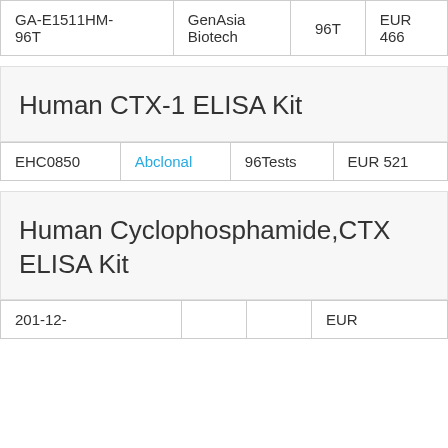| Product ID | Supplier | Size | Price |
| --- | --- | --- | --- |
| GA-E1511HM-96T | GenAsia Biotech | 96T | EUR 466 |
Human CTX-1 ELISA Kit
| Product ID | Supplier | Size | Price |
| --- | --- | --- | --- |
| EHC0850 | Abclonal | 96Tests | EUR 521 |
Human Cyclophosphamide,CTX ELISA Kit
| Product ID | Supplier | Size | Price |
| --- | --- | --- | --- |
| 201-12-... | ... | 96T... | EUR ... |